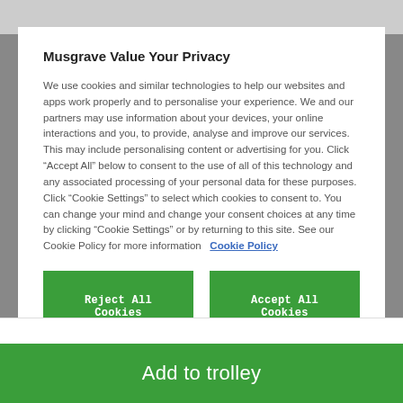Musgrave Value Your Privacy
We use cookies and similar technologies to help our websites and apps work properly and to personalise your experience. We and our partners may use information about your devices, your online interactions and you, to provide, analyse and improve our services. This may include personalising content or advertising for you. Click “Accept All” below to consent to the use of all of this technology and any associated processing of your personal data for these purposes. Click “Cookie Settings” to select which cookies to consent to. You can change your mind and change your consent choices at any time by clicking “Cookie Settings” or by returning to this site. See our Cookie Policy for more information  Cookie Policy
Reject All Cookies
Accept All Cookies
Cookies Settings
Add to trolley